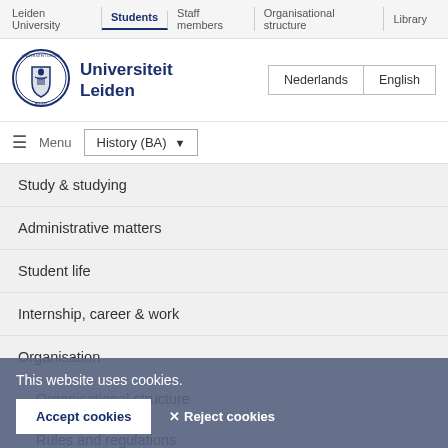Leiden University | Students | Staff members | Organisational structure | Library
[Figure (logo): Leiden University circular seal/crest logo in blue]
Universiteit Leiden
Study & studying
Administrative matters
Student life
Internship, career & work
Organisation
Organisational structure
Rules and regulations
Documents & information
People in hybrid
...ulty councils and programme bodies
This website uses cookies.